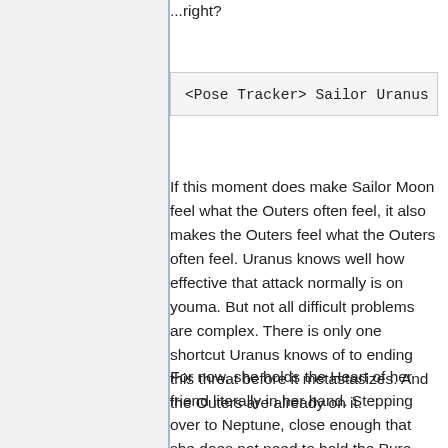...right?
<Pose Tracker> Sailor Uranus [1
If this moment does make Sailor Moon feel what the Outers often feel, it also makes the Outers feel what the Outers often feel. Uranus knows well how effective that attack normally is on youma. But not all difficult problems are complex. There is only one shortcut Uranus knows of to ending this threat before it metastasizes. And the Outers are already on it.
For now, she holds the Heart of her friend literally in her hand. Stepping over to Neptune, close enough that she does not need to hold the Pure Heart out for them both to touch it, she lets her